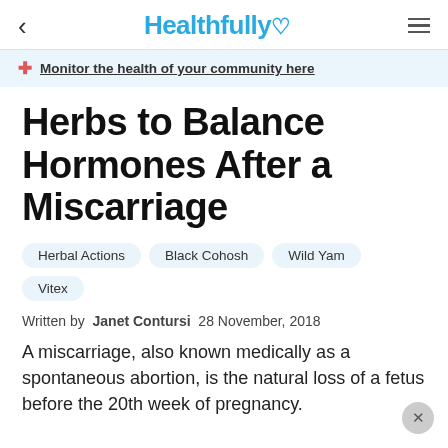Healthfully
Monitor the health of your community here
Herbs to Balance Hormones After a Miscarriage
Herbal Actions
Black Cohosh
Wild Yam
Vitex
Written by Janet Contursi  28 November, 2018
A miscarriage, also known medically as a spontaneous abortion, is the natural loss of a fetus before the 20th week of pregnancy.